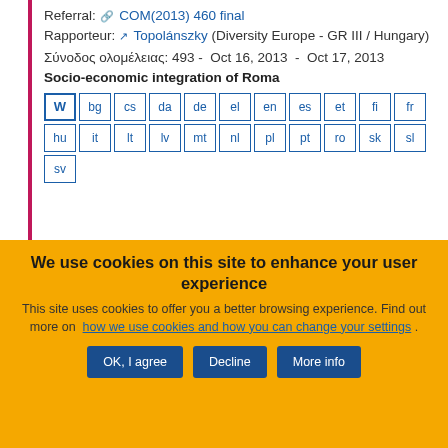Referral: COM(2013) 460 final
Rapporteur: Topolánszky (Diversity Europe - GR III / Hungary)
Σύνοδος ολομέλειας: 493 - Oct 16, 2013 - Oct 17, 2013
Socio-economic integration of Roma
[Figure (other): Language selector buttons: W (Word), bg, cs, da, de, el, en, es, et, fi, fr, hu, it, lt, lv, mt, nl, pl, pt, ro, sk, sl, sv]
We use cookies on this site to enhance your user experience
This site uses cookies to offer you a better browsing experience. Find out more on how we use cookies and how you can change your settings .
OK, I agree | Decline | More info